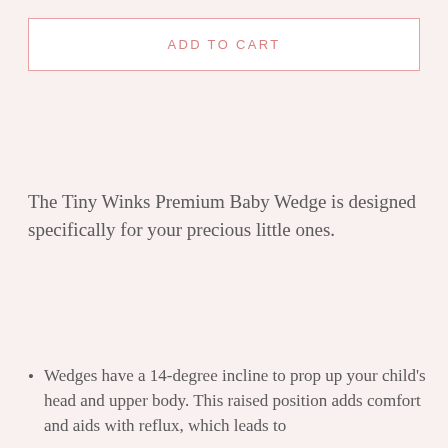ADD TO CART
The Tiny Winks Premium Baby Wedge is designed specifically for your precious little ones.
Wedges have a 14-degree incline to prop up your child's head and upper body. This raised position adds comfort and aids with reflux, which leads to